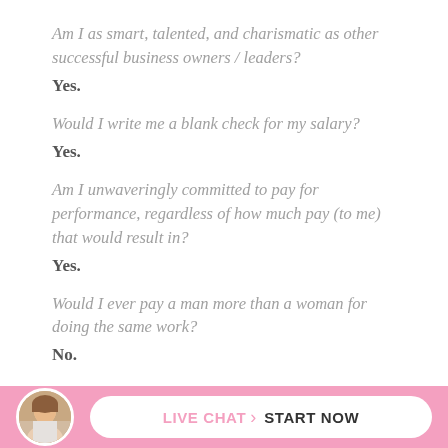Am I as smart, talented, and charismatic as other successful business owners / leaders?
Yes.
Would I write me a blank check for my salary?
Yes.
Am I unwaveringly committed to pay for performance, regardless of how much pay (to me) that would result in?
Yes.
Would I ever pay a man more than a woman for doing the same work?
No.
[Figure (infographic): Pink footer bar with circular avatar photo of a woman and a white pill-shaped button reading LIVE CHAT > START NOW]